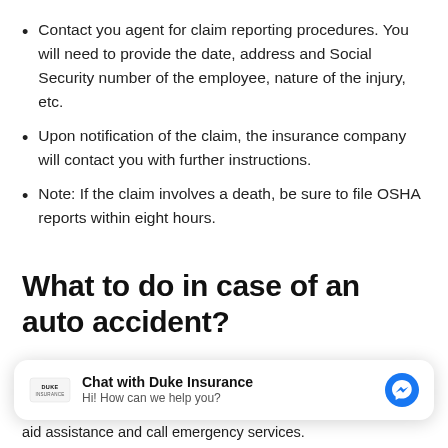Contact you agent for claim reporting procedures. You will need to provide the date, address and Social Security number of the employee, nature of the injury, etc.
Upon notification of the claim, the insurance company will contact you with further instructions.
Note: If the claim involves a death, be sure to file OSHA reports within eight hours.
What to do in case of an auto accident?
[Figure (other): Chat widget for Duke Insurance with messenger icon and text 'Hi! How can we help you?']
aid assistance and call emergency services.